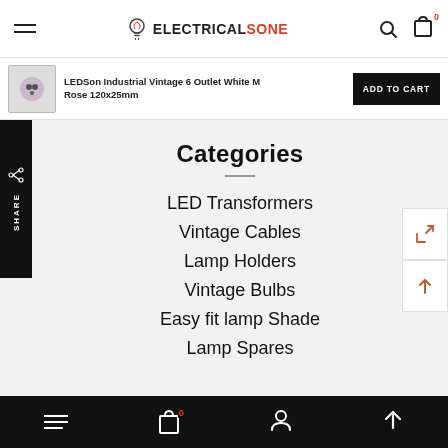ELECTRICALSONE — navigation header with search and cart
LEDSon Industrial Vintage 6 Outlet White M... Rose 120x25mm
ADD TO CART
SHARE
Categories
LED Transformers
Vintage Cables
Lamp Holders
Vintage Bulbs
Easy fit lamp Shade
Lamp Spares
Bottom navigation: menu, cart (0), account, scroll-up